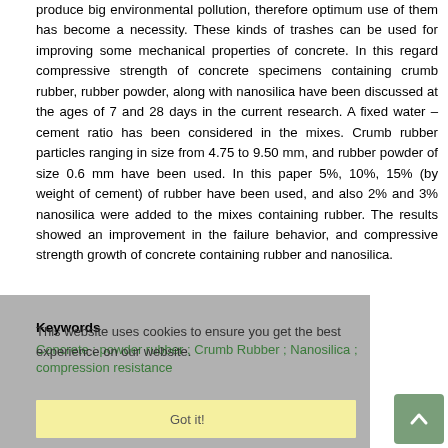produce big environmental pollution, therefore optimum use of them has become a necessity. These kinds of trashes can be used for improving some mechanical properties of concrete. In this regard compressive strength of concrete specimens containing crumb rubber, rubber powder, along with nanosilica have been discussed at the ages of 7 and 28 days in the current research. A fixed water – cement ratio has been considered in the mixes. Crumb rubber particles ranging in size from 4.75 to 9.50 mm, and rubber powder of size 0.6 mm have been used. In this paper 5%, 10%, 15% (by weight of cement) of rubber have been used, and also 2% and 3% nanosilica were added to the mixes containing rubber. The results showed an improvement in the failure behavior, and compressive strength growth of concrete containing rubber and nanosilica.
Keywords
Concrete ; powder rubber ; Crumb Rubber ; Nanosilica ; compression resistance